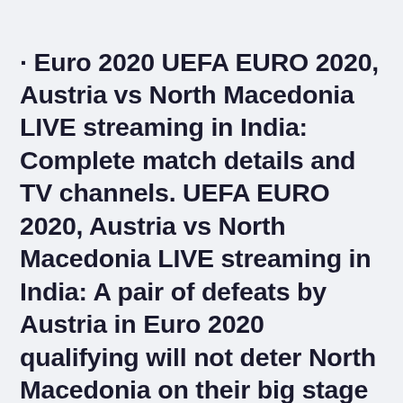· Euro 2020 UEFA EURO 2020, Austria vs North Macedonia LIVE streaming in India: Complete match details and TV channels. UEFA EURO 2020, Austria vs North Macedonia LIVE streaming in India: A pair of defeats by Austria in Euro 2020 qualifying will not deter North Macedonia on their big stage debut when the two teams clash in the opening Group C match on Sunday, goalkeeper Stole Dimitrievski said.